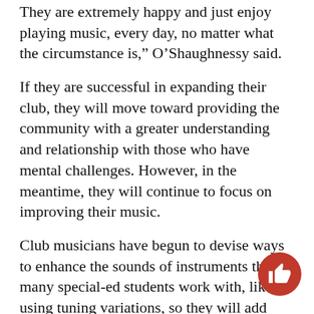They are extremely happy and just enjoy playing music, every day, no matter what the circumstance is,” O’Shaughnessy said.
If they are successful in expanding their club, they will move toward providing the community with a greater understanding and relationship with those who have mental challenges. However, in the meantime, they will continue to focus on improving their music.
Club musicians have begun to devise ways to enhance the sounds of instruments that many special-ed students work with, like using tuning variations, so they will add onto their songs and jam sessions without needing to provide complex lessons.
“We’ll do anything to just make the kids happy, they always join in and have fun, some of them are even learning to play their own instruments. It’s just always a good time to hang out sometime with kids who usually